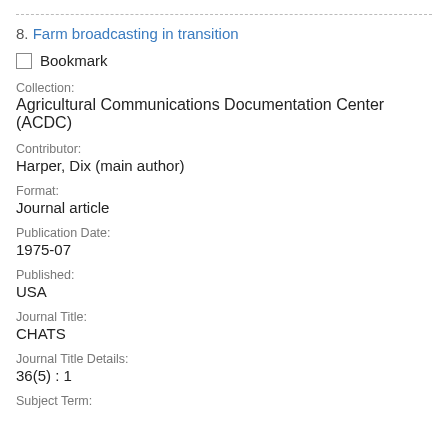8. Farm broadcasting in transition
Bookmark
Collection:
Agricultural Communications Documentation Center (ACDC)
Contributor:
Harper, Dix (main author)
Format:
Journal article
Publication Date:
1975-07
Published:
USA
Journal Title:
CHATS
Journal Title Details:
36(5) : 1
Subject Term: